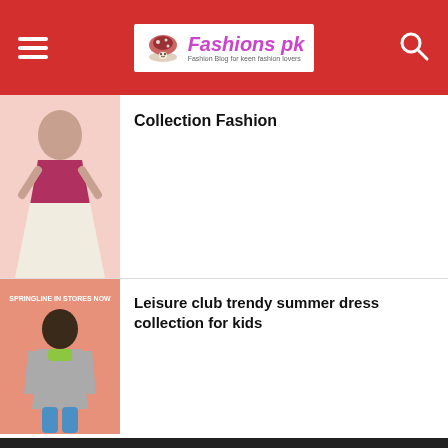Fashions pk — Fashion Blog for keen fashion lovers
[Figure (photo): Thumbnail of a girl in a pink and white dress — Collection Fashion]
Collection Fashion
[Figure (photo): Thumbnail of a boy in a grey hoodie on a salmon/pink background with text SPRINGLINE IN STORES NOW — Leisure club trendy summer dress collection for kids]
Leisure club trendy summer dress collection for kids